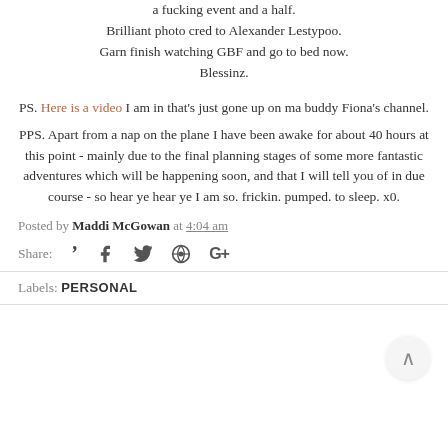a fucking event and a half.
Brilliant photo cred to Alexander Lestypoo.
Garn finish watching GBF and go to bed now.
Blessinz.
PS. Here is a video I am in that's just gone up on ma buddy Fiona's channel.
PPS. Apart from a nap on the plane I have been awake for about 40 hours at this point - mainly due to the final planning stages of some more fantastic adventures which will be happening soon, and that I will tell you of in due course - so hear ye hear ye I am so. frickin. pumped. to sleep. x0.
Posted by Maddi McGowan at 4:04 am
Share:
Labels: PERSONAL